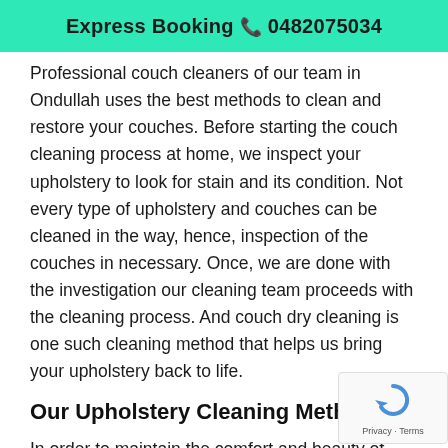Express Booking 📞 0482075034
Professional couch cleaners of our team in Ondullah uses the best methods to clean and restore your couches. Before starting the couch cleaning process at home, we inspect your upholstery to look for stain and its condition. Not every type of upholstery and couches can be cleaned in the way, hence, inspection of the couches in necessary. Once, we are done with the investigation our cleaning team proceeds with the cleaning process. And couch dry cleaning is one such cleaning method that helps us bring your upholstery back to life.
Our Upholstery Cleaning Methods
In order to maintain the comfort and beauty of your upholstery, you need to hire our professional cleaning services like Spotless Upholstery Cleaning. We follow